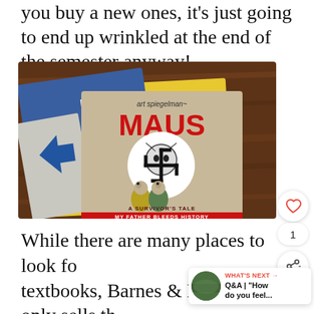you buy a new ones, it's just going to end up wrinkled at the end of the semester anyway!
[Figure (photo): Photo of the book 'Maus' by Art Spiegelman — A Survivor's Tale: My Father Bleeds History — resting on top of other books on a wooden surface. The cover shows a swastika design with animal characters.]
While there are many places to look for textbooks, Barnes & Noble only sells the highest quality used books (so you never have to worry